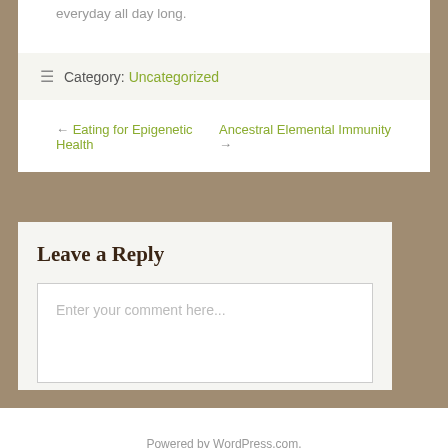everyday all day long.
Category: Uncategorized
← Eating for Epigenetic Health    Ancestral Elemental Immunity →
Leave a Reply
Enter your comment here...
Powered by WordPress.com.